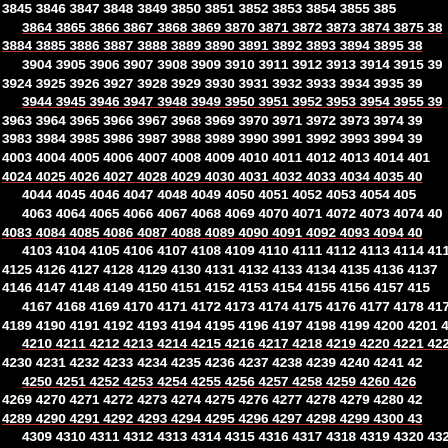3845 3846 3847 3848 3849 3850 3851 3852 3853 3854 3855 3856 3857 3858 3859 3860 3861 3862 3863 3864 3865 3866 3867 3868 3869 3870 3871 3872 3873 3874 3875 3876 3877 3878 3879 3880 3881 3882 3883 3884 3885 3886 3887 3888 3889 3890 3891 3892 3893 3894 3895 3896 3897 3898 3899 3900 3901 3902 3903 3904 3905 3906 3907 3908 3909 3910 3911 3912 3913 3914 3915 3916 3917 3918 3919 3920 3921 3922 3923 3924 3925 3926 3927 3928 3929 3930 3931 3932 3933 3934 3935 3936 3937 3938 3939 3940 3941 3942 3943 3944 3945 3946 3947 3948 3949 3950 3951 3952 3953 3954 3955 3956 3957 3958 3959 3960 3961 3962 3963 3964 3965 3966 3967 3968 3969 3970 3971 3972 3973 3974 3975 3976 3977 3978 3979 3980 3981 3982 3983 3984 3985 3986 3987 3988 3989 3990 3991 3992 3993 3994 3995 3996 3997 3998 3999 4000 4001 4002 4003 4004 4005 4006 4007 4008 4009 4010 4011 4012 4013 4014 4015 4016 4017 4018 4019 4020 4021 4022 4023 4024 4025 4026 4027 4028 4029 4030 4031 4032 4033 4034 4035 4036 4037 4038 4039 4040 4041 4042 4043 4044 4045 4046 4047 4048 4049 4050 4051 4052 4053 4054 4055 4056 4057 4058 4059 4060 4061 4062 4063 4064 4065 4066 4067 4068 4069 4070 4071 4072 4073 4074 4075 4076 4077 4078 4079 4080 4081 4082 4083 4084 4085 4086 4087 4088 4089 4090 4091 4092 4093 4094 4095 4096 4097 4098 4099 4100 4101 4102 4103 4104 4105 4106 4107 4108 4109 4110 4111 4112 4113 4114 4115 4116 4117 4118 4119 4120 4121 4122 4123 4124 4125 4126 4127 4128 4129 4130 4131 4132 4133 4134 4135 4136 4137 4138 4139 4140 4141 4142 4143 4144 4145 4146 4147 4148 4149 4150 4151 4152 4153 4154 4155 4156 4157 4158 4159 4160 4161 4162 4163 4164 4165 4166 4167 4168 4169 4170 4171 4172 4173 4174 4175 4176 4177 4178 4179 4180 4181 4182 4183 4184 4185 4186 4187 4188 4189 4190 4191 4192 4193 4194 4195 4196 4197 4198 4199 4200 4201 4202 4203 4204 4205 4206 4207 4208 4209 4210 4211 4212 4213 4214 4215 4216 4217 4218 4219 4220 4221 4222 4223 4224 4225 4226 4227 4228 4229 4230 4231 4232 4233 4234 4235 4236 4237 4238 4239 4240 4241 4242 4243 4244 4245 4246 4247 4248 4249 4250 4251 4252 4253 4254 4255 4256 4257 4258 4259 4260 4261 4262 4263 4264 4265 4266 4267 4268 4269 4270 4271 4272 4273 4274 4275 4276 4277 4278 4279 4280 4281 4282 4283 4284 4285 4286 4287 4288 4289 4290 4291 4292 4293 4294 4295 4296 4297 4298 4299 4300 4301 4302 4303 4304 4305 4306 4307 4308 4309 4310 4311 4312 4313 4314 4315 4316 4317 4318 4319 4320 4321 4322 4323 4324 4325 4326 4327 4328 4329 4330 4331 4332 4333 4334 4335 4336 4337 4338 4339 4340 4341 4342 4343 4344 4345 4346 4347 4348 4349 4350 4351 4352 4353 4354 4355 4356 4357 4358 4359 4360 4361 4362 4363 4364 4365 4366 4367 4368 4369 4370 4371 4372 4373 4374 4375 4376 4377 4378 4379 4380 4381 4382 4383 4384 4385 4386 4387 4388 4389 4390 4391 4392 4393 4394 4395 4396 4397 4398 4399 4400 4401 4402 4403 4404 4405 4406 4407 4408 4409 4410 4411 4412 4413 4414 4415 4416 4417 4418 4419 4420 4421 4422 4423 4424 4425 4426 4427 4428 4429 4430 4431 4432 4433 4434 4435 4436 4437 4438 4439 4440 4441 4442 4443 4444 4445 4446 4447 4448 4449 4450 4451 4452 4453 4454 4455 4456 4457 4458 4459 4460 4461 4462 4463 4464 4465 4466 4467 4468 4469 4470 4471 4472 4473 4474 4475 4476 4477 4478 4479 4480